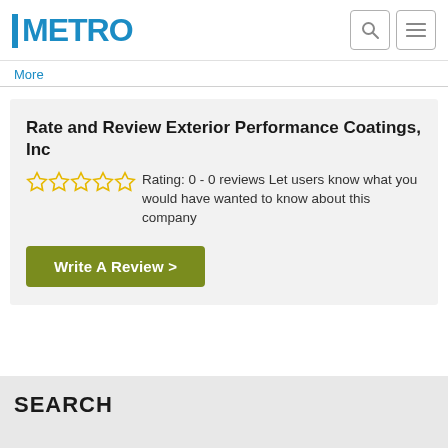METRO
More
Rate and Review Exterior Performance Coatings, Inc
Rating: 0 - 0 reviews Let users know what you would have wanted to know about this company
Write A Review >
SEARCH